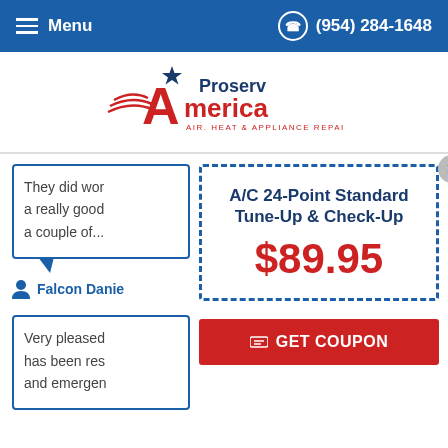Menu | (954) 284-1648
[Figure (logo): Proserv America - Air, Heat & Appliance Repair logo with star and red swoosh]
They did wor a really good a couple of...
Falcon Danie
[Figure (infographic): A/C 24-Point Standard Tune-Up & Check-Up coupon for $89.95 with dashed blue border and GET COUPON red button]
Very pleased has been res and emergen